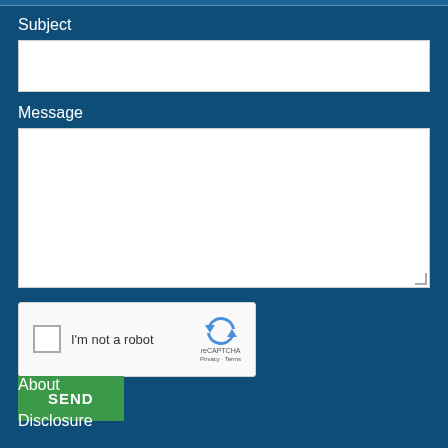Subject
Message
[Figure (screenshot): reCAPTCHA widget with checkbox labeled 'I'm not a robot' and reCAPTCHA logo]
SEND
About
Disclosure